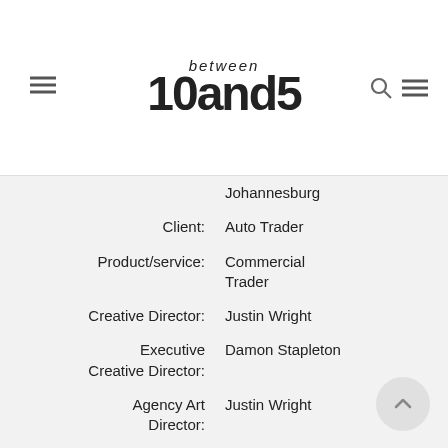[Figure (logo): between10and5 logo with hamburger menu icon on left and search/menu icons on right]
Johannesburg
Client: Auto Trader
Product/service: Commercial Trader
Creative Director: Justin Wright
Executive Creative Director: Damon Stapleton
Agency Art Director: Justin Wright
Copywriter: David Edworthy
Photographer: Chris Saunders